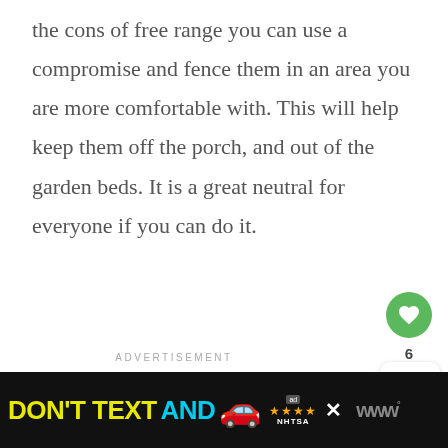the cons of free range you can use a compromise and fence them in an area you are more comfortable with. This will help keep them off the porch, and out of the garden beds. It is a great neutral for everyone if you can do it.
ADVERTISEMENT
[Figure (screenshot): Green heart/like button (circular, green background with white heart icon), like count showing 6, and a share button (circular arrows with plus icon)]
[Figure (infographic): What's Next panel showing thumbnail image and text: WHAT'S NEXT → Easy Gourmet Snack |...]
[Figure (infographic): Bottom advertisement banner on black background: DON'T TEXT AND [car emoji] with NHTSA ad badge and close button]